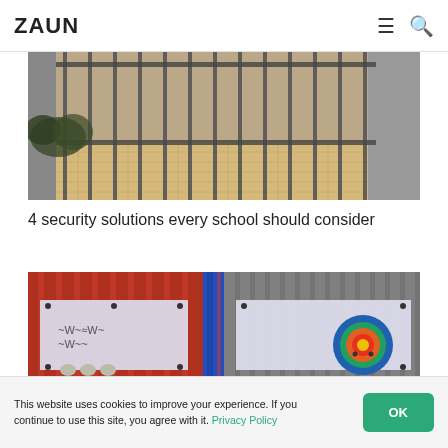ZAUN
[Figure (photo): Photo of metal security fence/railing with paved pathway behind it, outdoor setting with plants and building wall]
4 security solutions every school should consider
[Figure (photo): Photo of colorful playground fencing in red and blue with decorative panel elements]
This website uses cookies to improve your experience. If you continue to use this site, you agree with it. Privacy Policy